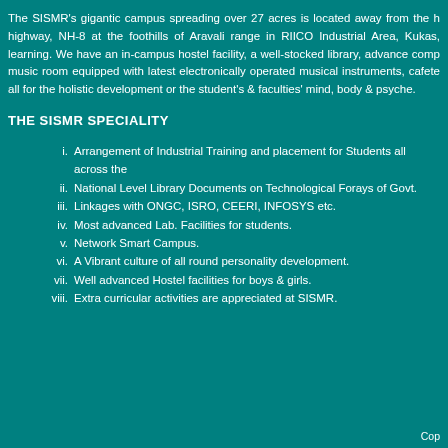The SISMR's gigantic campus spreading over 27 acres is located away from the highway, NH-8 at the foothills of Aravali range in RIICO Industrial Area, Kukas, learning. We have an in-campus hostel facility, a well-stocked library, advance comp music room equipped with latest electronically operated musical instruments, cafete all for the holistic development or the student's & faculties' mind, body & psyche.
THE SISMR SPECIALITY
i. Arrangement of Industrial Training and placement for Students all across the
ii. National Level Library Documents on Technological Forays of Govt.
iii. Linkages with ONGC, ISRO, CEERI, INFOSYS etc.
iv. Most advanced Lab. Facilities for students.
v. Network Smart Campus.
vi. A Vibrant culture of all round personality development.
vii. Well advanced Hostel facilities for boys & girls.
viii. Extra curricular activities are appreciated at SISMR.
Cop